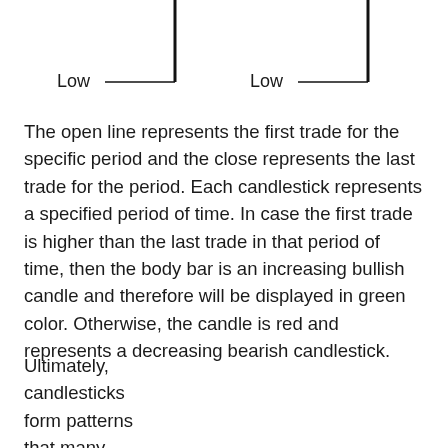[Figure (illustration): Two candlestick diagrams showing Low labels with horizontal lines pointing to the bottom wick of each candle. Left candle and right candle both labeled 'Low' with a horizontal line and vertical wick below.]
The open line represents the first trade for the specific period and the close represents the last trade for the period. Each candlestick represents a specified period of time. In case the first trade is higher than the last trade in that period of time, then the body bar is an increasing bullish candle and therefore will be displayed in green color. Otherwise, the candle is red and represents a decreasing bearish candlestick.
Ultimately, candlesticks form patterns that many traders use to